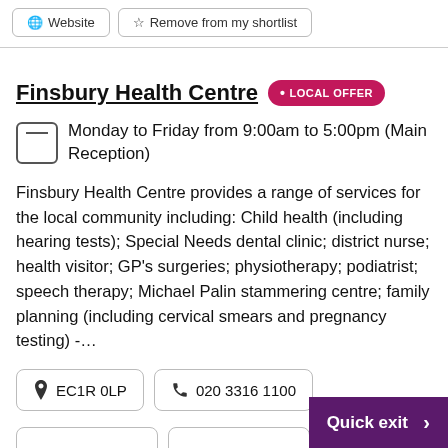Finsbury Health Centre • LOCAL OFFER
Monday to Friday from 9:00am to 5:00pm (Main Reception)
Finsbury Health Centre provides a range of services for the local community including: Child health (including hearing tests); Special Needs dental clinic; district nurse; health visitor; GP's surgeries; physiotherapy; podiatrist; speech therapy; Michael Palin stammering centre; family planning (including cervical smears and pregnancy testing) -…
EC1R 0LP
020 3316 1100
Quick exit >